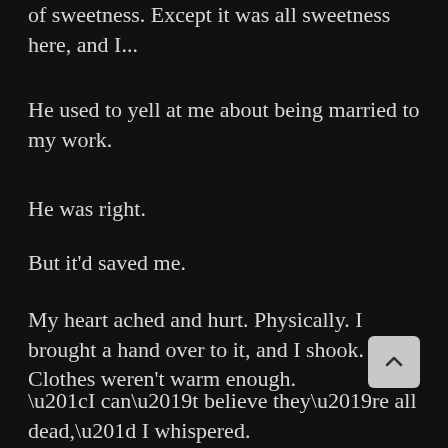of sweetness. Except it was all sweetness here, and I...
He used to yell at me about being married to my work.
He was right.
But it'd saved me.
My heart ached and hurt. Physically. I brought a hand over to it, and I shook. Clothes weren't warm enough.
“I can't believe they’re all dead,” I whispered.